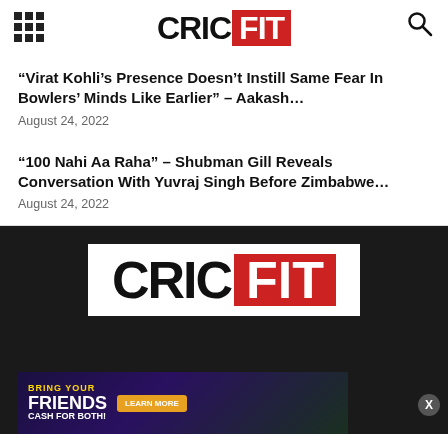CRICFIT
“Virat Kohli’s Presence Doesn’t Instill Same Fear In Bowlers’ Minds Like Earlier” – Aakash...
August 24, 2022
“100 Nahi Aa Raha” – Shubman Gill Reveals Conversation With Yuvraj Singh Before Zimbabwe...
August 24, 2022
[Figure (logo): CricFit logo on dark background - large CRIC in black letters on white, FIT in white letters on red background]
[Figure (infographic): Advertisement banner: Bring your FRIENDS cash for both - Learn More button, with cricket player image and gold coins]